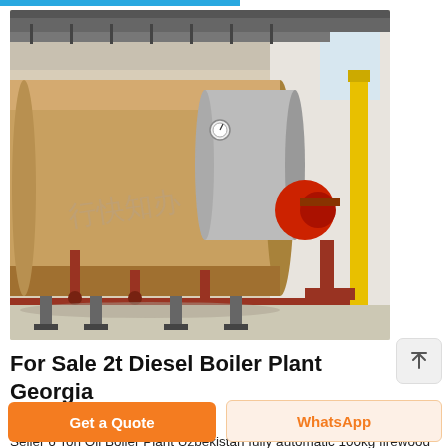[Figure (photo): Industrial boiler plant showing large cylindrical horizontal steam boilers in a factory setting with red and yellow pipes, metal framework, and a red burner unit. Chinese watermark text visible on the image.]
For Sale 2t Diesel Boiler Plant Georgia
Seller 6 Ton Oil Boiler Plant Uzbekistan fully automatic 100kg firewood laundry steam boiler Agent. 2t gas boiler Commercial Price Indonesia. 6 ton 10 ton Industrial Coal Fired Posted
Get a Quote
WhatsApp